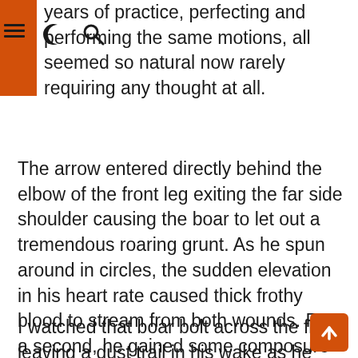years of practice, perfecting and performing the same motions, all seemed so natural now rarely requiring any thought at all.
The arrow entered directly behind the elbow of the front leg exiting the far side shoulder causing the boar to let out a tremendous roaring grunt. As he spun around in circles, the sudden elevation in his heart rate caused thick frothy blood to stream from both wounds. For a second, he gained some composure and took off across the burnt open savannah that surrounded the swamp.
I watched that boar bolt across the flats leaving a dust trail in his wake as he went. The front legs started to crumple and I could see he was losing